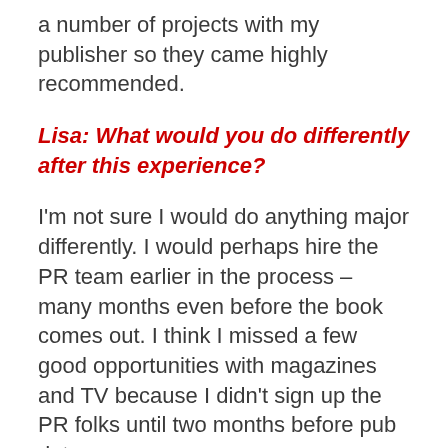a number of projects with my publisher so they came highly recommended.
Lisa: What would you do differently after this experience?
I'm not sure I would do anything major differently. I would perhaps hire the PR team earlier in the process – many months even before the book comes out. I think I missed a few good opportunities with magazines and TV because I didn't sign up the PR folks until two months before pub date.
Lisa: Any last bit of wisdom you want to pass on?